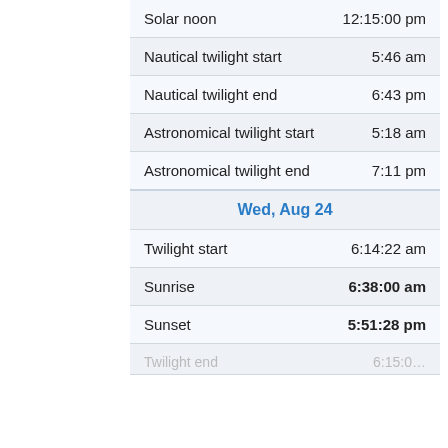| Event | Time |
| --- | --- |
| Solar noon | 12:15:00 pm |
| Nautical twilight start | 5:46 am |
| Nautical twilight end | 6:43 pm |
| Astronomical twilight start | 5:18 am |
| Astronomical twilight end | 7:11 pm |
| Wed, Aug 24 |  |
| Twilight start | 6:14:22 am |
| Sunrise | 6:38:00 am |
| Sunset | 5:51:28 pm |
| Twilight end | 6:15:0… |